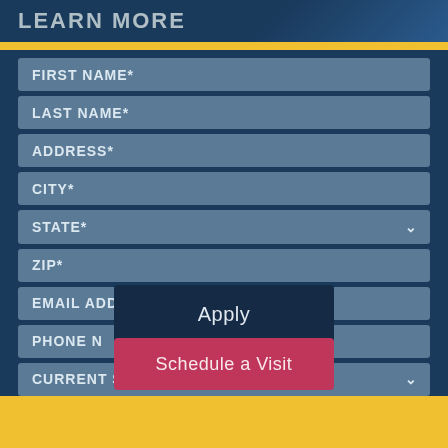LEARN MORE
FIRST NAME*
LAST NAME*
ADDRESS*
CITY*
STATE*
ZIP*
EMAIL ADDRESS*
PHONE N[UMBER*]
CURRENT STATUS*
Apply
Schedule a Visit